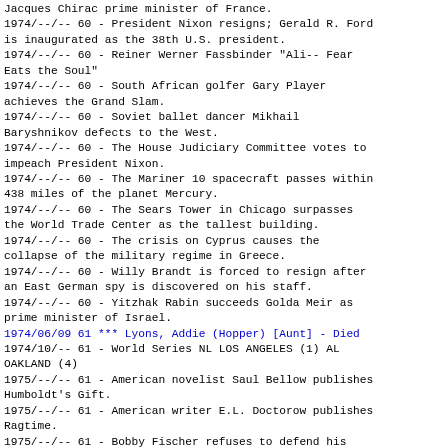Jacques Chirac prime minister of France.
1974/--/-- 60 - President Nixon resigns; Gerald R. Ford is inaugurated as the 38th U.S. president.
1974/--/-- 60 - Reiner Werner Fassbinder "Ali-- Fear Eats the Soul"
1974/--/-- 60 - South African golfer Gary Player achieves the Grand Slam.
1974/--/-- 60 - Soviet ballet dancer Mikhail Baryshnikov defects to the West.
1974/--/-- 60 - The House Judiciary Committee votes to impeach President Nixon.
1974/--/-- 60 - The Mariner 10 spacecraft passes within 438 miles of the planet Mercury.
1974/--/-- 60 - The Sears Tower in Chicago surpasses the World Trade Center as the tallest building.
1974/--/-- 60 - The crisis on Cyprus causes the collapse of the military regime in Greece.
1974/--/-- 60 - Willy Brandt is forced to resign after an East German spy is discovered on his staff.
1974/--/-- 60 - Yitzhak Rabin succeeds Golda Meir as prime minister of Israel.
1974/06/09 61 *** Lyons, Addie (Hopper) [Aunt] - Died
1974/10/-- 61 - World Series NL LOS ANGELES (1) AL OAKLAND (4)
1975/--/-- 61 - American novelist Saul Bellow publishes Humboldt's Gift.
1975/--/-- 61 - American writer E.L. Doctorow publishes Ragtime.
1975/--/-- 61 - Bobby Fischer refuses to defend his chess title; Anatoly Karpov is made champion.